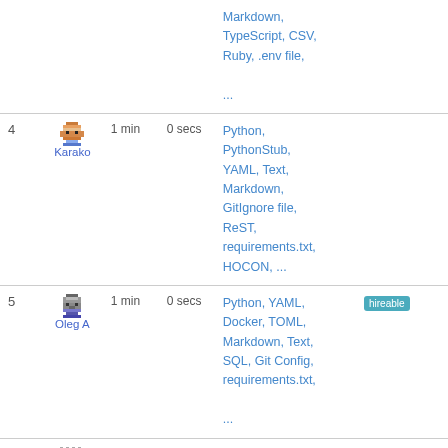| # | User | Time1 | Time2 | Languages | Badges |
| --- | --- | --- | --- | --- | --- |
|  |  |  |  | Markdown, TypeScript, CSV, Ruby, .env file, ... |  |
| 4 | Karako | 1 min | 0 secs | Python, PythonStub, YAML, Text, Markdown, GitIgnore file, ReST, requirements.txt, HOCON, ... |  |
| 5 | Oleg A | 1 min | 0 secs | Python, YAML, Docker, TOML, Markdown, Text, SQL, Git Config, requirements.txt, ... | hireable |
| 6 | Anonymous User | 0 secs | 0 secs | PHP, Gherkin, YAML, .env file, Markdown, textmate, CSV/TSV, XML, |  |